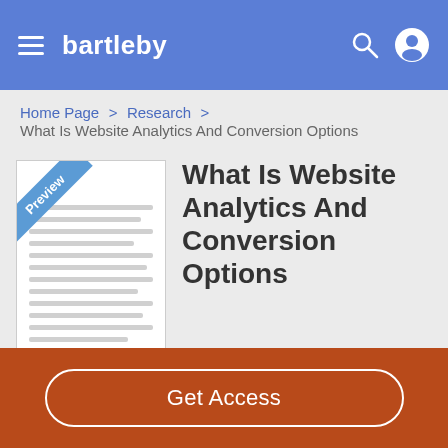bartleby
Home Page > Research > What Is Website Analytics And Conversion Options
What Is Website Analytics And Conversion Options
[Figure (illustration): Document preview thumbnail with a blue 'Preview' ribbon across the top-left corner and horizontal lines representing text content]
Get Access